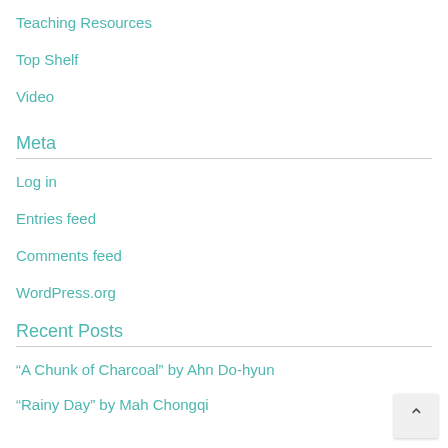Teaching Resources
Top Shelf
Video
Meta
Log in
Entries feed
Comments feed
WordPress.org
Recent Posts
“A Chunk of Charcoal” by Ahn Do-hyun
“Rainy Day” by Mah Chongqi